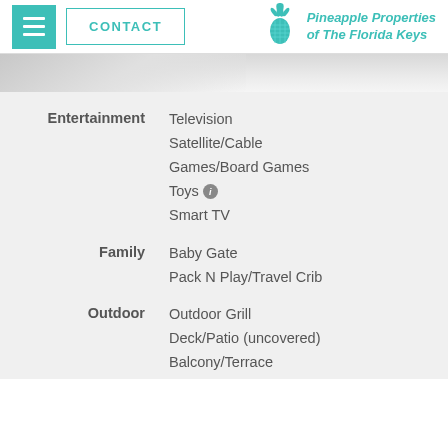[Figure (logo): Pineapple Properties of The Florida Keys logo with teal pineapple icon and stylized text]
Entertainment: Television, Satellite/Cable, Games/Board Games, Toys, Smart TV
Family: Baby Gate, Pack N Play/Travel Crib
Outdoor: Outdoor Grill, Deck/Patio (uncovered), Balcony/Terrace